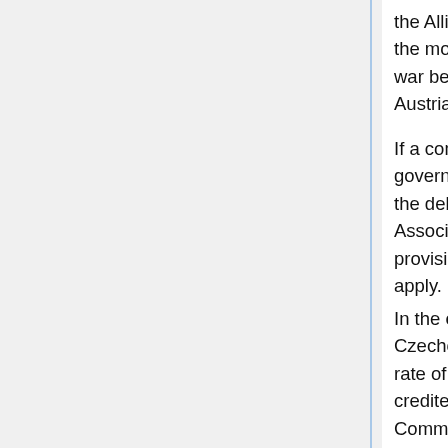the Allied or Associated country concerned during the month immediately preceding the outbreak of war between the said country concerned and Austria-Hungary.
If a contract provides for a fixed rate of exchange governing the conversion of the currency in which the debt is stated into the currency of the Allied or Associated country concerned, then the above provisions concerning the rate of exchange shall not apply.
In the case of the new States of Poland and the Czecho-Slovak State, the currency in which and the rate of exchange at which debts shall be paid or credited shall be determined by the Reparation Commission provided for in